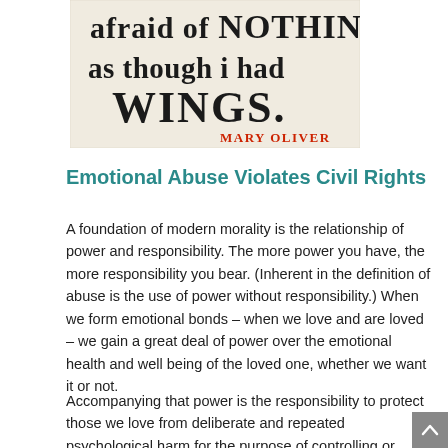[Figure (illustration): An image with hand-printed/stamped text reading 'afraid of NOTHING as though i had WINGS.' with 'MARY OLIVER' stamped in red at the bottom right, on a light background.]
Emotional Abuse Violates Civil Rights
A foundation of modern morality is the relationship of power and responsibility. The more power you have, the more responsibility you bear. (Inherent in the definition of abuse is the use of power without responsibility.) When we form emotional bonds – when we love and are loved – we gain a great deal of power over the emotional health and well being of the loved one, whether we want it or not.
Accompanying that power is the responsibility to protect those we love from deliberate and repeated psychological harm for the purpose of controlling or manipulating them.